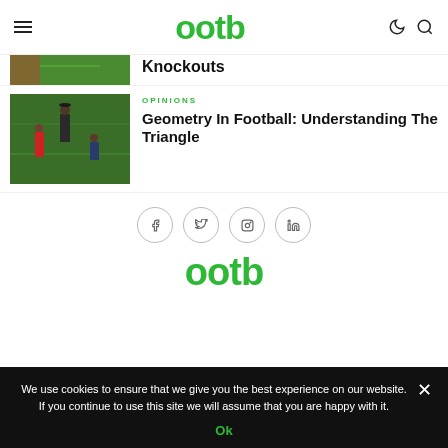ootb
Knockouts
[Figure (photo): Green football pitch with red accent, partial view]
OPINIONS
Geometry In Football: Understanding The Triangle
[Figure (photo): Football manager and players at training on green pitch]
[Figure (other): Social media icons: Facebook, Twitter, Instagram, LinkedIn in circular outlines]
ootb
We use cookies to ensure that we give you the best experience on our website. If you continue to use this site we will assume that you are happy with it.
Ok